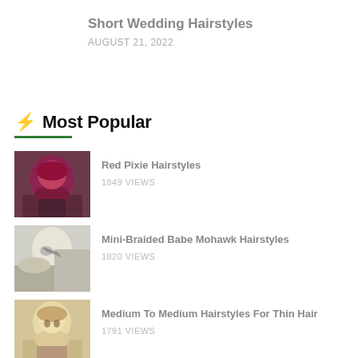Short Wedding Hairstyles
AUGUST 21, 2022
⚡ Most Popular
Red Pixie Hairstyles — 1849 VIEWS
Mini-Braided Babe Mohawk Hairstyles — 1820 VIEWS
Medium To Medium Hairstyles For Thin Hair — 1791 VIEWS